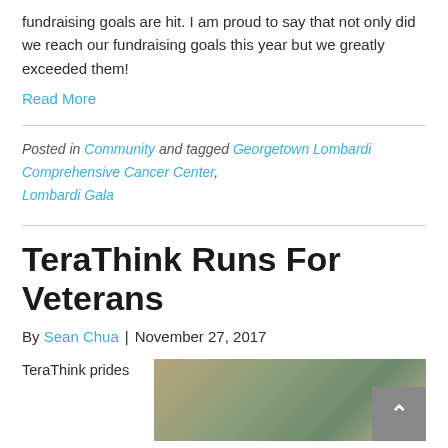fundraising goals are hit. I am proud to say that not only did we reach our fundraising goals this year but we greatly exceeded them!
Read More
Posted in Community and tagged Georgetown Lombardi Comprehensive Cancer Center, Lombardi Gala
TeraThink Runs For Veterans
By Sean Chua | November 27, 2017
TeraThink prides
[Figure (photo): Outdoor photo of a building with trees in autumn foliage]